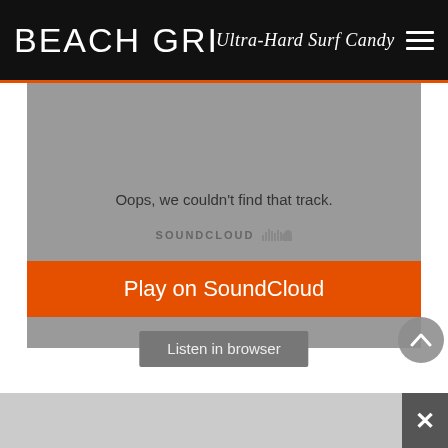BEACH GRIT Ultra-Hard Surf Candy
[Figure (screenshot): SoundCloud embedded player showing error message 'Oops, we couldn't find that track.' with SOUNDCLOUD logo, orange 'Play on SoundCloud' button, and gray 'Listen in browser' button on a gray background]
Oops, we couldn't find that track.
SOUNDCLOUD
Play on SoundCloud
Listen in browser